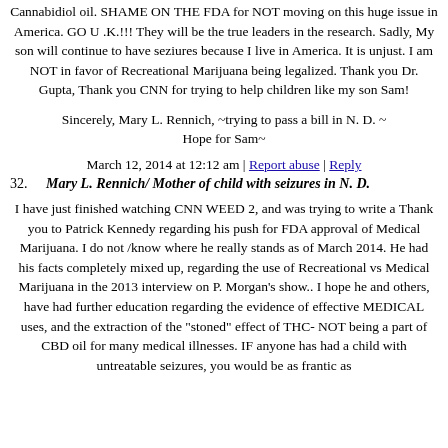Cannabidiol oil. SHAME ON THE FDA for NOT moving on this huge issue in America. GO U .K.!!! They will be the true leaders in the research. Sadly, My son will continue to have seziures because I live in America. It is unjust. I am NOT in favor of Recreational Marijuana being legalized. Thank you Dr. Gupta, Thank you CNN for trying to help children like my son Sam!
Sincerely, Mary L. Rennich, ~trying to pass a bill in N. D. ~ Hope for Sam~
March 12, 2014 at 12:12 am | Report abuse | Reply
32. Mary L. Rennich/ Mother of child with seizures in N. D.
I have just finished watching CNN WEED 2, and was trying to write a Thank you to Patrick Kennedy regarding his push for FDA approval of Medical Marijuana. I do not /know where he really stands as of March 2014. He had his facts completely mixed up, regarding the use of Recreational vs Medical Marijuana in the 2013 interview on P. Morgan's show.. I hope he and others, have had further education regarding the evidence of effective MEDICAL uses, and the extraction of the "stoned" effect of THC- NOT being a part of CBD oil for many medical illnesses. IF anyone has had a child with untreatable seizures, you would be as frantic as